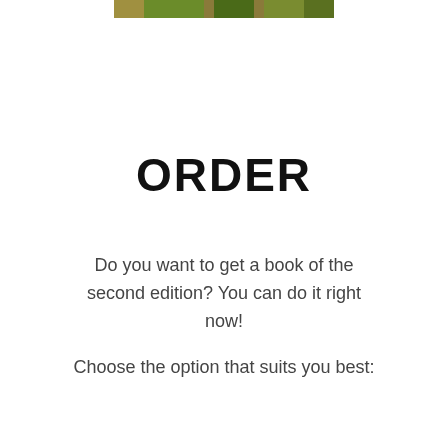[Figure (photo): Partial top edge of a book cover image, cropped at the top of the page]
ORDER
Do you want to get a book of the second edition? You can do it right now!
Choose the option that suits you best: